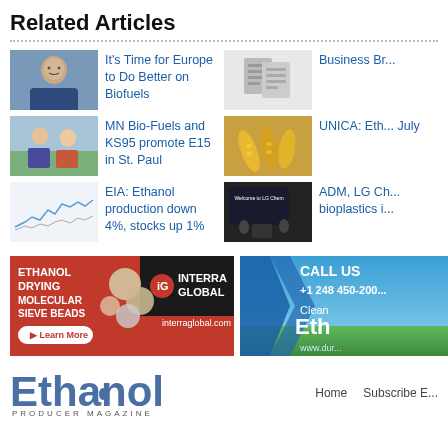Related Articles
It's Time for Europe to Do Better on Biofuels
Business Br...
MN Bio-Fuels and KS95 promote E15 in St. Paul
UNICA: Eth... July
EIA: Ethanol production down 4%, stocks up 1%
ADM, LG Ch... bioplastics i...
[Figure (advertisement): Interra Global ad for Ethanol Drying Molecular Sieve Beads with Learn More button]
[Figure (advertisement): Call Us +1 248 450-2000, Clean Ethanol ad with www.dur... url]
[Figure (logo): Ethanol Producer Magazine logo]
Home  Subscribe E...